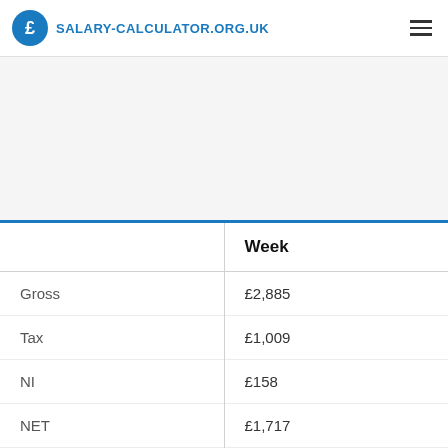SALARY-CALCULATOR.ORG.UK
|  | Week |
| --- | --- |
| Gross | £2,885 |
| Tax | £1,009 |
| NI | £158 |
| NET | £1,717 |